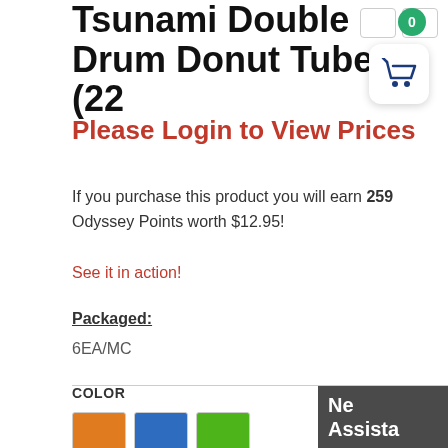Tsunami Double Drum Donut Tube (22
Please Login to View Prices
If you purchase this product you will earn 259 Odyssey Points worth $12.95!
See it in action!
Packaged:
6EA/MC
COLOR
[Figure (other): Three color swatches: orange, blue, green]
Ne Assista